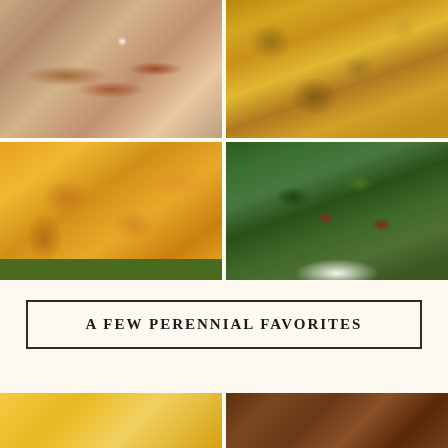[Figure (photo): Four food photos in a 2x2 grid: top-left shows bacon on a plate with a fork, top-right shows a baked casserole dish with cheese topping, bottom-left shows a close-up of cheesy baked gratin dish, bottom-right shows a mixed green salad with pomegranate seeds on a white plate]
A FEW PERENNIAL FAVORITES
[Figure (photo): Two partial food photos at the bottom: left shows a yellow/golden dish, right shows a dark brown dish or food item]